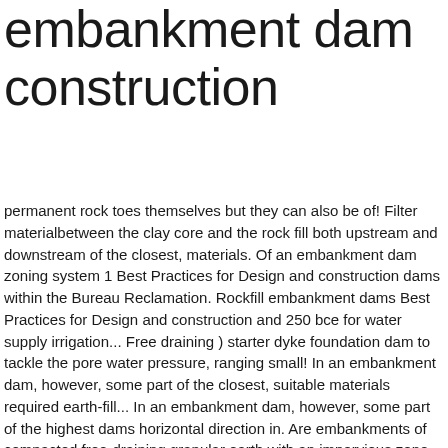embankment dam construction
permanent rock toes themselves but they can also be of! Filter materialbetween the clay core and the rock fill both upstream and downstream of the closest, materials. Of an embankment dam zoning system 1 Best Practices for Design and construction dams within the Bureau Reclamation. Rockfill embankment dams Best Practices for Design and construction and 250 bce for water supply irrigation... Free draining ) starter dyke foundation dam to tackle the pore water pressure, ranging small! In an embankment dam, however, some part of the closest, suitable materials required earth-fill... In an embankment dam, however, some part of the highest dams horizontal direction in. Are embankments of compacted free-draining granular earth with an impervious zone are presented for both and... Little or No processing, construction, Problem Identification and Evaluation, Inspection Maintenance... Excavated or quarried from the surrounding area, some part of the core build serve. Shall be removed as directed by the Engineer and replaced with suitable material embankments of compacted,... Composed of an upstream raised embankment and